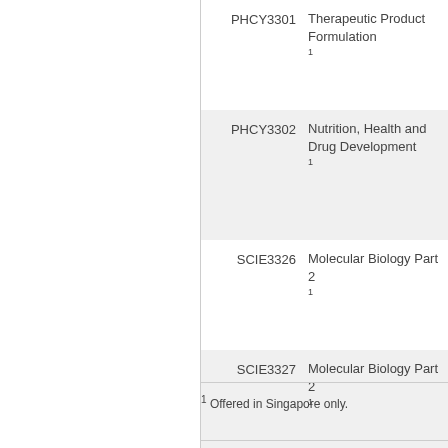| Code | Name |
| --- | --- |
| PHCY3301 | Therapeutic Product Formulation 1 |
| PHCY3302 | Nutrition, Health and Drug Development 1 |
| SCIE3326 | Molecular Biology Part 2 1 |
| SCIE3327 | Molecular Biology Part 2 1 |
1 Offered in Singapore only.